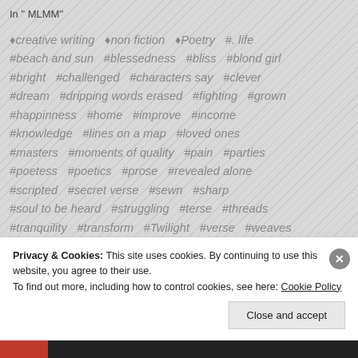In " MLMM"
♦creative writing  ♦non fiction  ♦Poetry  #. life  #beach and sun  #blessedness  #bliss  #blond girl  #bright  #challenged  #characters say  #clever  #dream  #dripping words erased  #fighting  #grown  #happinness  #home  #improve  #income  #knowledge  #lines on a map  #loved ones  #masters  #moments of quality  #pain  #parties  #poetess  #poetics  #prose  #revealed alone  #scripted  #secret verse  #sewn  #sharp  #soul to be heard  #struggling  #terse  #threads  #tranquility  #transform  #Twilight  #verse  #weaves
Privacy & Cookies: This site uses cookies. By continuing to use this website, you agree to their use.
To find out more, including how to control cookies, see here: Cookie Policy
Close and accept